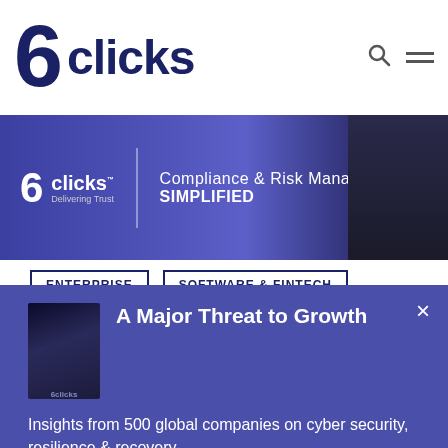[Figure (logo): 6clicks logo with large dark blue '6' numeral and 'clicks' text in dark blue]
[Figure (photo): Banner with 6clicks logo, text 'Compliance & Risk Management: SIMPLIFIED' on purple background, partially visible person in dark hoodie on right]
ENTERPRISE
SOFTWARE & FINTECH
[Figure (illustration): Popup overlay in blue/purple with book cover thumbnail, title 'A Major Threat to Growth', description text, and download button]
A Major Threat to Growth
Insights from 500 global companies on cyber security, resilience & recovery.
FREE: Download here